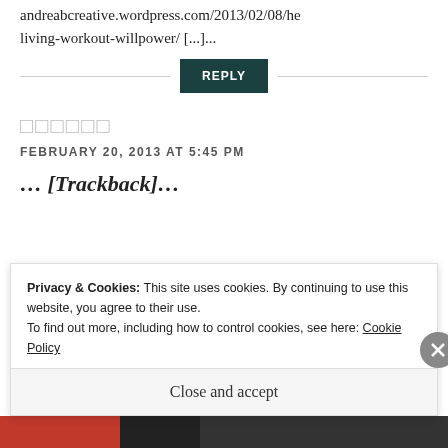andreabcreative.wordpress.com/2013/02/08/he living-workout-willpower/ [...]...
REPLY
□□□□□□
FEBRUARY 20, 2013 AT 5:45 PM
… [Trackback]…
Privacy & Cookies: This site uses cookies. By continuing to use this website, you agree to their use.
To find out more, including how to control cookies, see here: Cookie Policy
Close and accept